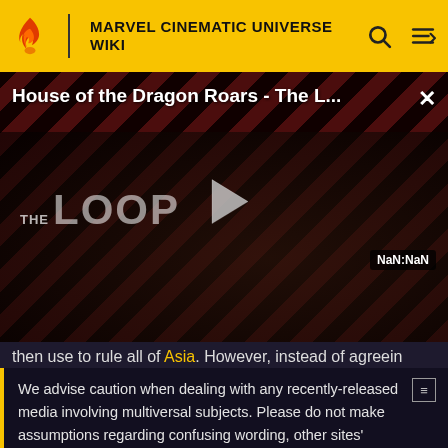MARVEL CINEMATIC UNIVERSE WIKI
[Figure (screenshot): Video player showing 'House of the Dragon Roars - The L...' with diagonal red/dark stripe background, THE LOOP logo visible, play button in center, NaN:NaN time display, and a close (x) button in top right.]
then use to rule all of Asia. However, instead of agreein
We advise caution when dealing with any recently-released media involving multiversal subjects. Please do not make assumptions regarding confusing wording, other sites' speculation, and people's headcanon around the internet.